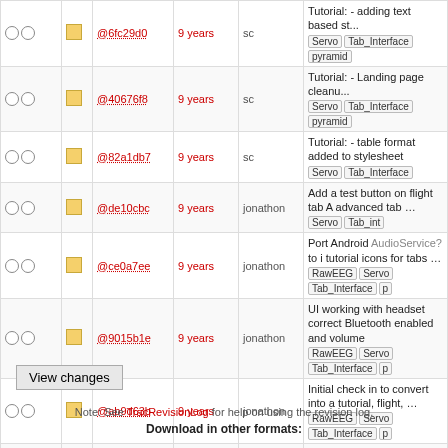|  |  | Rev | Age | Author | Log Message |
| --- | --- | --- | --- | --- | --- |
| ○ ○ | □ | @6fc29d0 | 9 years | sc | Tutorial: - adding text based st... Servo Tab_Interface pyramid |
| ○ ○ | □ | @40676f8 | 9 years | sc | Tutorial: - Landing page cleanu... Servo Tab_Interface pyramid |
| ○ ○ | □ | @82a1db7 | 9 years | sc | Tutorial: - table format added to stylesheet Servo Tab_Interface |
| ○ ○ | □ | @de10cbc | 9 years | jonathon | Add a test button on flight tab A advanced tab … Servo Tab_int |
| ○ ○ | □ | @ce0a7ee | 9 years | jonathon | Port Android AudioService? to i tutorial icons for tabs … RawEEG Servo Tab_Interface p |
| ○ ○ | □ | @9015b1e | 9 years | jonathon | UI working with headset correct Bluetooth enabled and volume RawEEG Servo Tab_Interface p |
| ○ ○ | □ | @ab9d63b | 9 years | jonathon | Initial check in to convert into a tutorial, flight, … RawEEG Servo Tab_Interface p |
| ○ ○ | □ | @a9059a5 | 9 years | sc | Arduino: - updated to permit cu Throttle, Yaw, and Pitch … RawEEG Raw_EEG_Plot Servo |
| ○ ○ | □ | @daf54d5 | 10 years | sc | - Connect button added to inter volume level fixed - … RawEEG Raw_EEG_Plot Servo |
| ● ○ |  | @66477ef | 10 years | jonathon | Initial checkin of working iOS ap RawEEG Raw_EEG_Plot Servo |
View changes
Note: See TracRevisionLog for help on using the revision log.
Download in other formats: